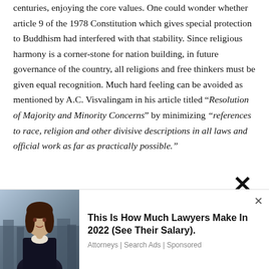centuries, enjoying the core values. One could wonder whether article 9 of the 1978 Constitution which gives special protection to Buddhism had interfered with that stability. Since religious harmony is a corner-stone for nation building, in future governance of the country, all religions and free thinkers must be given equal recognition. Much hard feeling can be avoided as mentioned by A.C. Visvalingam in his article titled “Resolution of Majority and Minority Concerns” by minimizing “references to race, religion and other divisive descriptions in all laws and official work as far as practically possible.”
[Figure (photo): Advertisement banner showing a woman in professional attire (lawyer) with a city background, alongside text about lawyer salaries.]
This Is How Much Lawyers Make In 2022 (See Their Salary).
Attorneys | Search Ads | Sponsored